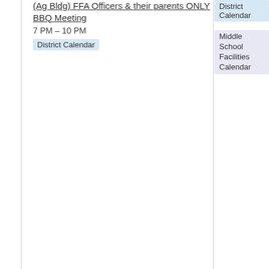(Ag Bldg) FFA Officers & their parents ONLY BBQ Meeting
7 PM – 10 PM
District Calendar
District Calendar
Middle School Facilities Calendar